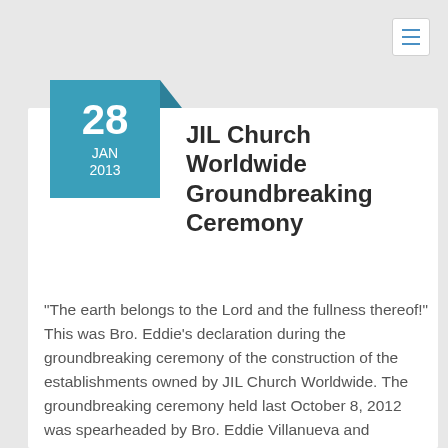[Figure (other): Hamburger menu button icon with three horizontal blue lines on white background, top-right corner]
JIL Church Worldwide Groundbreaking Ceremony
"The earth belongs to the Lord and the fullness thereof!" This was Bro. Eddie's declaration during the groundbreaking ceremony of the construction of the establishments owned by JIL Church Worldwide. The groundbreaking ceremony held last October 8, 2012 was spearheaded by Bro. Eddie Villanueva and witnessed by hundreds of pastors from Central, National, and International Operations of JIL Church Worldwide.